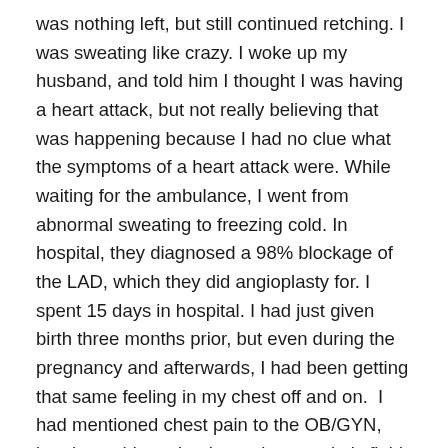was nothing left, but still continued retching. I was sweating like crazy. I woke up my husband, and told him I thought I was having a heart attack, but not really believing that was happening because I had no clue what the symptoms of a heart attack were. While waiting for the ambulance, I went from abnormal sweating to freezing cold. In hospital, they diagnosed a 98% blockage of the LAD, which they did angioplasty for. I spent 15 days in hospital. I had just given birth three months prior, but even during the pregnancy and afterwards, I had been getting that same feeling in my chest off and on.  I had mentioned chest pain to the OB/GYN, but they told me that it was just amniotic fluid pushing my insides up into my chest, and that was the cause of the feeling.
“My second heart attack happened 10 years ago when I